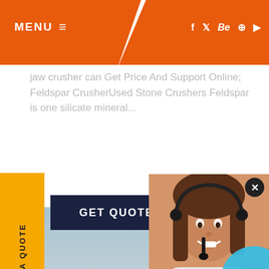MENU ☰  |  f  t  Be  ⊕  ▶
jaw crusher can Get Price And Support Online; Feldspar CrusherUsed Stone Crushers Feldspar is one silicate mineral...
REQUEST A QUOTE
GET QUOTE
[Figure (photo): Industrial mining conveyor belt equipment with multiple conveyor structures, aerial view of mining operations with crushed stone/aggregate]
[Figure (photo): Smiling female customer service operator wearing a headset]
Have any questions, click here.
Quot
Enquiry
drobilkalm